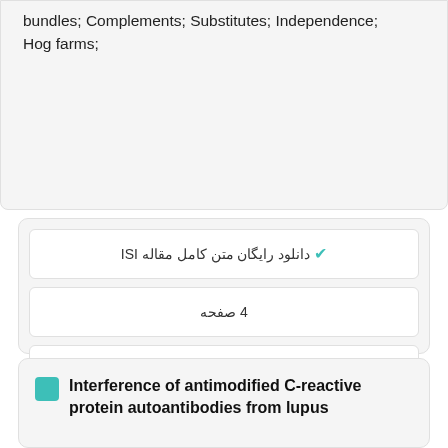bundles; Complements; Substitutes; Independence; Hog farms;
✔ دانلود رایگان متن کامل مقاله ISI
4 صفحه
سال انتشار : 2012
✔ سفارش ترجمه
Interference of antimodified C-reactive protein autoantibodies from lupus